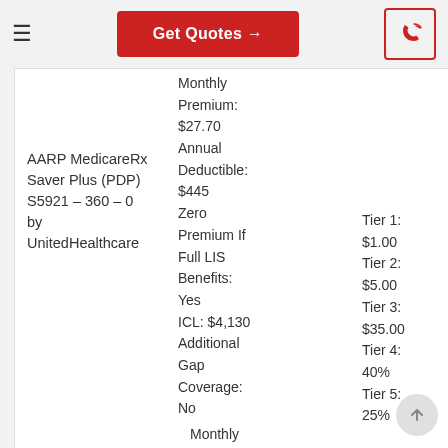Get Quotes →
AARP MedicareRx Saver Plus (PDP) S5921 – 360 – 0 by UnitedHealthcare
| Detail | Value | Tier | Cost |
| --- | --- | --- | --- |
| Monthly Premium: | $27.70 |  |  |
| Annual Deductible: | $445 | Tier 1: | $1.00 |
| Zero Premium If Full LIS Benefits: | Yes | Tier 2: | $5.00 |
|  |  | Tier 3: | $35.00 |
| ICL: | $4,130 | Tier 4: | 40% |
| Additional Gap Coverage: | No | Tier 5: | 25% |
Monthly